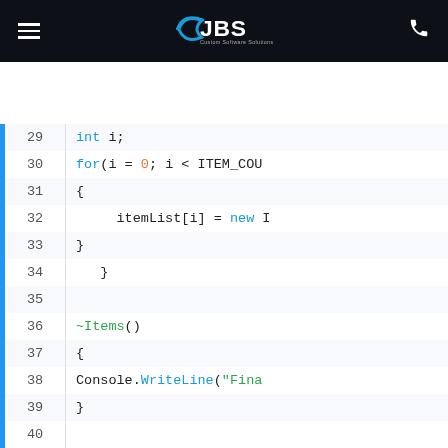[Figure (logo): JBS Custom Software Solutions logo in white on dark header bar, with hamburger menu icon on left and phone icon on right]
Code editor screenshot showing lines 29-44 of C++ code including int i; for loop, itemList, destructor ~Items(), Console.WriteLine, public Items next, //public Items prev